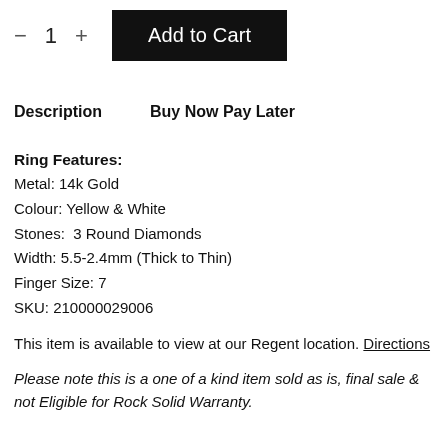[Figure (other): Add to Cart button with quantity selector (minus, 1, plus) on the left and a black 'Add to Cart' button on the right]
Description   Buy Now Pay Later
Ring Features:
Metal: 14k Gold
Colour: Yellow & White
Stones:  3 Round Diamonds
Width: 5.5-2.4mm (Thick to Thin)
Finger Size: 7
SKU: 210000029006
This item is available to view at our Regent location. Directions
Please note this is a one of a kind item sold as is, final sale & not Eligible for Rock Solid Warranty.